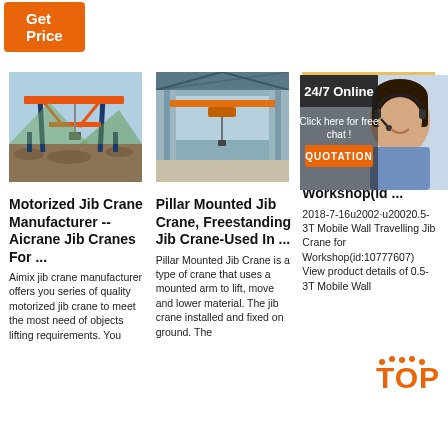[Figure (other): Orange 'Get Price' button at top left]
[Figure (photo): Motorized gantry/jib crane outdoor construction site photo]
Motorized Jib Crane Manufacturer -- Aicrane Jib Cranes For ...
Aimix jib crane manufacturer offers you series of quality motorized jib crane to meet the most need of objects lifting requirements. You
[Figure (photo): Pillar mounted jib crane inside industrial warehouse/factory photo]
Pillar Mounted Jib Crane, Freestanding Jib Crane-Used In ...
Pillar Mounted Jib Crane is a type of crane that uses a mounted arm to lift, move and lower material. The jib crane installed and fixed on ground. The
[Figure (photo): 0.5-3T Mobile Wall Travelling Jib Crane workshop interior photo]
0.5-3T Wall T... Wall T... Jib Cra... Workshop(id ...
2018-7-16u2002·u20020.5-3T Mobile Wall Travelling Jib Crane for Workshop(id:10777607) View product details of 0.5-3T Mobile Wall
[Figure (other): 24/7 Online chat overlay with customer service representative photo, 'Click here for free chat!' text, and QUOTATION button]